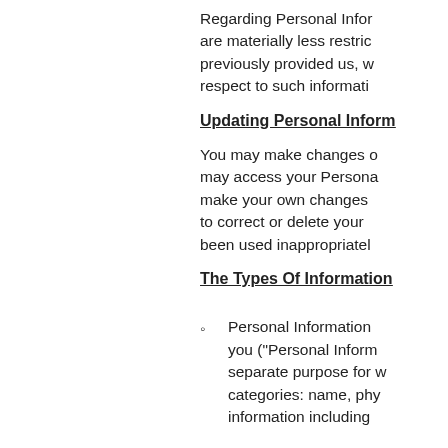Regarding Personal Information that are materially less restrictive than previously provided us, we will respect to such information.
Updating Personal Information
You may make changes or may access your Personal Information to make your own changes or to correct or delete your information that has been used inappropriately.
The Types Of Information
Personal Information you ("Personal Information") separate purpose for which categories: name, physical information including